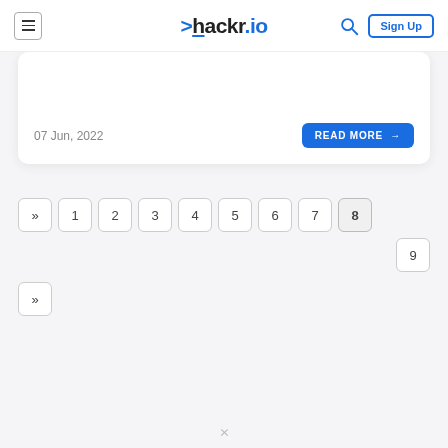hackr.io — Sign Up
07 Jun, 2022
READ MORE →
» 1 2 3 4 5 6 7 8
9
»